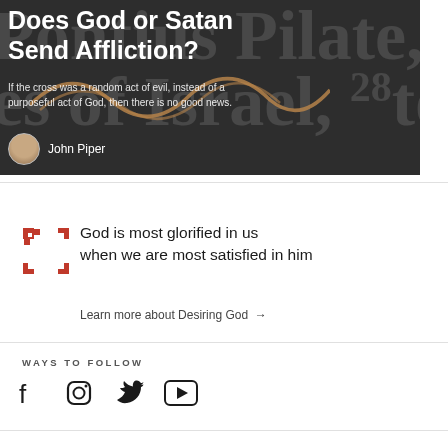[Figure (screenshot): Dark banner image for article 'Does God or Satan Send Affliction?' by John Piper, with background scripture text and decorative squiggle overlay]
Does God or Satan Send Affliction?
If the cross was a random act of evil, instead of a purposeful act of God, then there is no good news.
John Piper
God is most glorified in us when we are most satisfied in him
Learn more about Desiring God →
WAYS TO FOLLOW
[Figure (illustration): Social media icons: Facebook, Instagram, Twitter, YouTube]